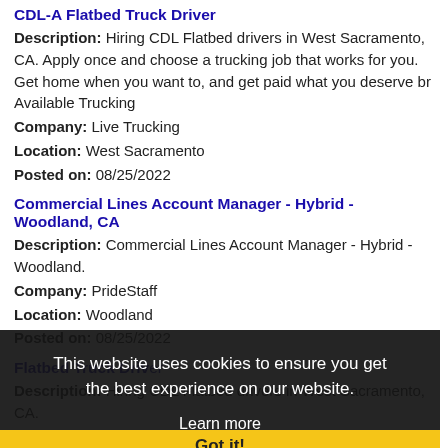CDL-A Flatbed Truck Driver
Description: Hiring CDL Flatbed drivers in West Sacramento, CA. Apply once and choose a trucking job that works for you. Get home when you want to, and get paid what you deserve br Available Trucking
Company: Live Trucking
Location: West Sacramento
Posted on: 08/25/2022
Commercial Lines Account Manager - Hybrid - Woodland, CA
Description: Commercial Lines Account Manager - Hybrid - Woodland.
Company: PrideStaff
Location: Woodland
Posted on: 08/25/2022
Flatbed Truck Driver
Description: Hiring CDL Flatbed drivers in West Sacramento, CA. Apply once and choose a trucking job that works for you. Get home when you want to, and get paid what you deserve br Available Trucking
Company: Live Trucking
Location: West Sacramento
This website uses cookies to ensure you get the best experience on our website. Learn more
Got it!